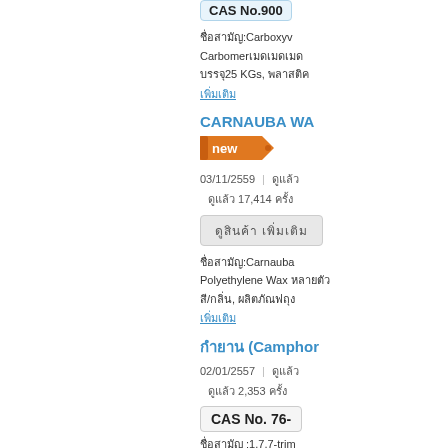CAS No.900...
ชื่อสามัญ:Carboxyvinypolymer, Carbomer ชนิดบรรจุ: 25 KGs, ...
เพิ่มเติม
CARNAUBA WA...
[Figure (other): NEW badge orange arrow shape]
03/11/2559 | ... | ดูแล้ว 17,414 ครั้ง
ดูสินค้า เพิ่มเติม
ชื่อสามัญ:Carnauba Wax, Polyethylene Wax ... สี/กลิ่น: ...
เพิ่มเติม
กำยาน (Camphor...
02/01/2557 | ... | ดูแล้ว 2,353 ครั้ง
CAS No. 76-
ชื่อสามัญ :1,7,7-trim... 2-one... :2-bor... camphanone, born...